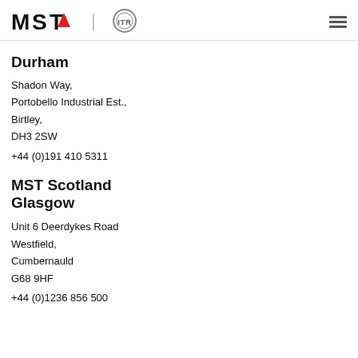MST ITR logo and navigation
Durham
Shadon Way,
Portobello Industrial Est.,
Birtley,
DH3 2SW
+44 (0)191 410 5311
MST Scotland Glasgow
Unit 6 Deerdykes Road
Westfield,
Cumbernauld
G68 9HF
+44 (0)1236 856 500